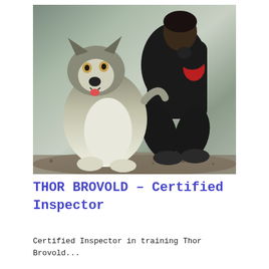[Figure (photo): A person crouching outdoors holding a small black dog or puppy, next to a large Husky dog sitting on the ground. Rocky/gravelly ground in the background.]
THOR BROVOLD – Certified Inspector
Certified Inspector in training Thor Brovold...